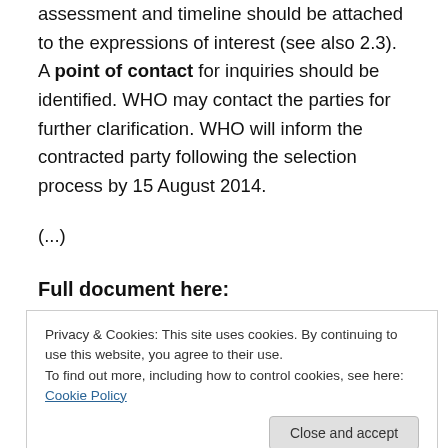assessment and timeline should be attached to the expressions of interest (see also 2.3). A point of contact for inquiries should be identified. WHO may contact the parties for further clarification. WHO will inform the contracted party following the selection process by 15 August 2014.
(...)
Full document here:
http://...
Privacy & Cookies: This site uses cookies. By continuing to use this website, you agree to their use.
To find out more, including how to control cookies, see here: Cookie Policy
Close and accept
revision process